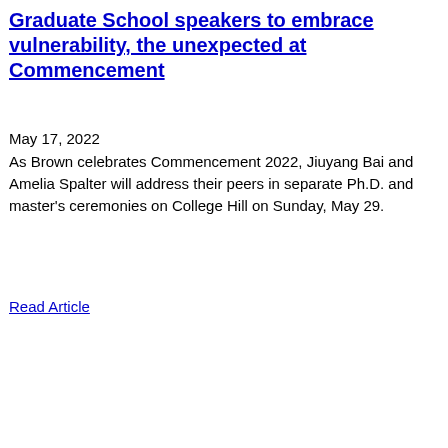Graduate School speakers to embrace vulnerability, the unexpected at Commencement
May 17, 2022
As Brown celebrates Commencement 2022, Jiuyang Bai and Amelia Spalter will address their peers in separate Ph.D. and master’s ceremonies on College Hill on Sunday, May 29.
Read Article